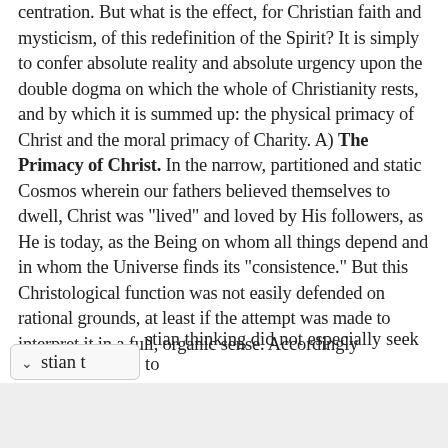centration. But what is the effect, for Christian faith and mysticism, of this redefinition of the Spirit? It is simply to confer absolute reality and absolute urgency upon the double dogma on which the whole of Christianity rests, and by which it is summed up: the physical primacy of Christ and the moral primacy of Charity. A) The Primacy of Christ. In the narrow, partitioned and static Cosmos wherein our fathers believed themselves to dwell, Christ was "lived" and loved by His followers, as He is today, as the Being on whom all things depend and in whom the Universe finds its "consistence." But this Christological function was not easily defended on rational grounds, at least if the attempt was made to interpret it in a full, organic sense. Accordingly stian thinking did not especially seek to